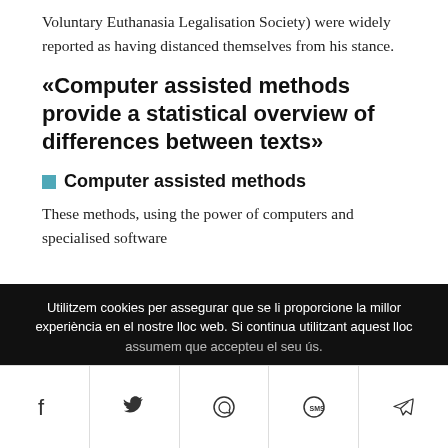Voluntary Euthanasia Legalisation Society) were widely reported as having distanced themselves from his stance.
«Computer assisted methods provide a statistical overview of differences between texts»
Computer assisted methods
These methods, using the power of computers and specialised software
Utilitzem cookies per assegurar que se li proporcione la millor experiència en el nostre lloc web. Si continua utilitzant aquest lloc assumem que accepteu el seu ús.
Share buttons: Facebook, Twitter, WhatsApp, SMS, Telegram